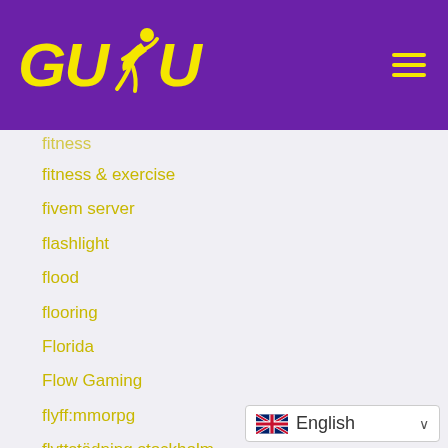[Figure (logo): GUDU logo with runner silhouette in yellow on purple background, with hamburger menu icon]
fitness
fitness & exercise
fivem server
flashlight
flood
flooring
Florida
Flow Gaming
flyff:mmorpg
flyttstädning stockholm
food
Food & Beverage
Food & Beverage-Coffee